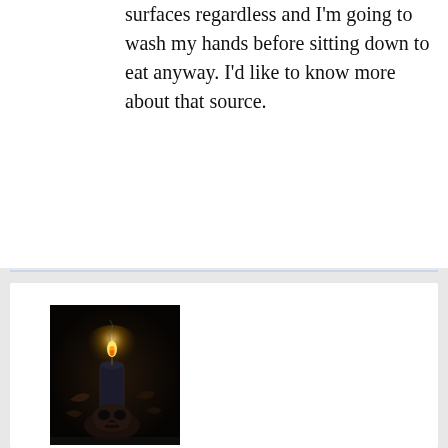surfaces regardless and I'm going to wash my hands before sitting down to eat anyway. I'd like to know more about that source.
JAMES CHRISTJOHN | November 16, 2020 at 6:16 am | Reply
[Figure (photo): Dark photograph showing a candle with a skull or decorative object, black background]
This is the most irresponsible headline I have read. Do you have any idea how many ignorant people will read this headline and dump their dogs? In a world full of abused and abandonded dogs,